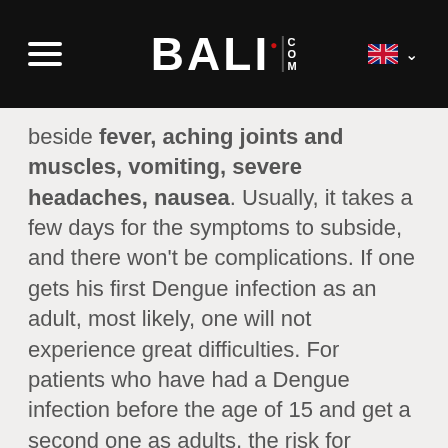BALI.COM navigation header
beside fever, aching joints and muscles, vomiting, severe headaches, nausea. Usually, it takes a few days for the symptoms to subside, and there won't be complications. If one gets his first Dengue infection as an adult, most likely, one will not experience great difficulties. For patients who have had a Dengue infection before the age of 15 and get a second one as adults, the risk for complications is higher.
High risk, no vaccine available, general mosquito bite precautions.